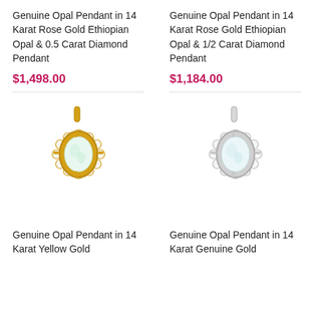Genuine Opal Pendant in 14 Karat Rose Gold Ethiopian Opal & 0.5 Carat Diamond Pendant
Genuine Opal Pendant in 14 Karat Rose Gold Ethiopian Opal & 1/2 Carat Diamond Pendant
$1,498.00
$1,184.00
[Figure (photo): Yellow gold opal pendant with diamond halo surround]
[Figure (photo): White gold opal pendant with diamond halo surround]
Genuine Opal Pendant in 14 Karat Yellow Gold
Genuine Opal Pendant in 14 Karat Genuine Gold